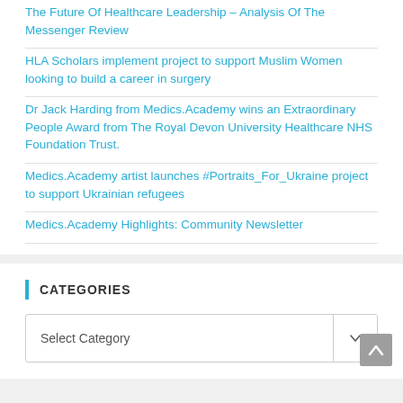The Future Of Healthcare Leadership – Analysis Of The Messenger Review
HLA Scholars implement project to support Muslim Women looking to build a career in surgery
Dr Jack Harding from Medics.Academy wins an Extraordinary People Award from The Royal Devon University Healthcare NHS Foundation Trust.
Medics.Academy artist launches #Portraits_For_Ukraine project to support Ukrainian refugees
Medics.Academy Highlights: Community Newsletter
CATEGORIES
Select Category